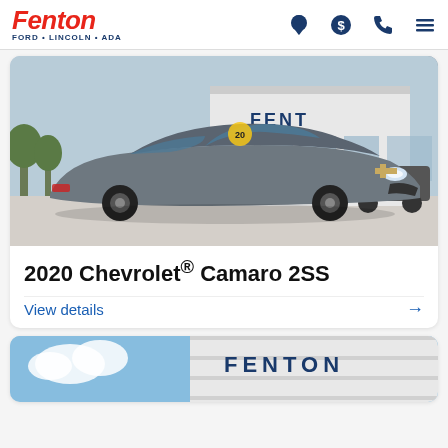Fenton Ford · Lincoln · Ada — navigation header with location, dollar, phone, and menu icons
[Figure (photo): Photo of a silver 2020 Chevrolet Camaro 2SS parked in front of a Fenton dealership building]
2020 Chevrolet® Camaro 2SS
View details →
[Figure (photo): Partial photo showing the Fenton dealership building exterior with large FENTON sign]